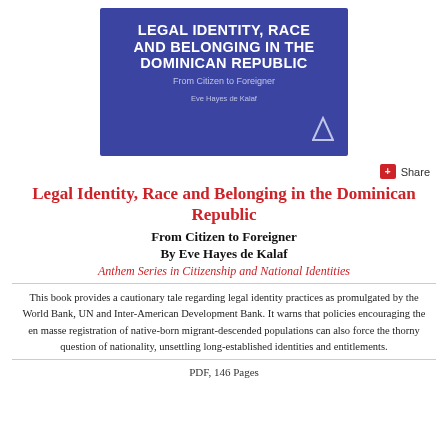[Figure (illustration): Book cover for 'Legal Identity, Race and Belonging in the Dominican Republic: From Citizen to Foreigner' by Eve Hayes de Kalaf, with dark blue/indigo background, white bold title text, silver subtitle, and Anthem Press logo.]
+ Share
Legal Identity, Race and Belonging in the Dominican Republic
From Citizen to Foreigner
By Eve Hayes de Kalaf
Anthem Series in Citizenship and National Identities
This book provides a cautionary tale regarding legal identity practices as promulgated by the World Bank, UN and Inter-American Development Bank. It warns that policies encouraging the en masse registration of native-born migrant-descended populations can also force the thorny question of nationality, unsettling long-established identities and entitlements.
PDF, 146 Pages